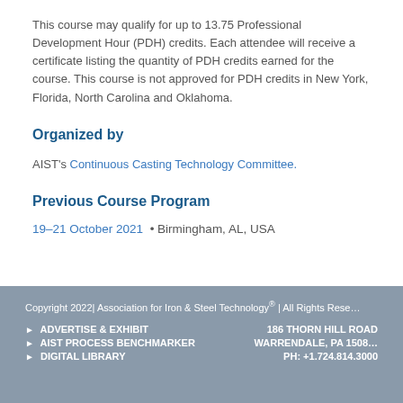This course may qualify for up to 13.75 Professional Development Hour (PDH) credits. Each attendee will receive a certificate listing the quantity of PDH credits earned for the course. This course is not approved for PDH credits in New York, Florida, North Carolina and Oklahoma.
Organized by
AIST's Continuous Casting Technology Committee.
Previous Course Program
19–21 October 2021  •  Birmingham, AL, USA
Copyright 2022| Association for Iron & Steel Technology® | All Rights Reserved
► ADVERTISE & EXHIBIT   186 THORN HILL ROAD
► AIST PROCESS BENCHMARKER   WARRENDALE, PA 1508
► DIGITAL LIBRARY   PH: +1.724.814.3000